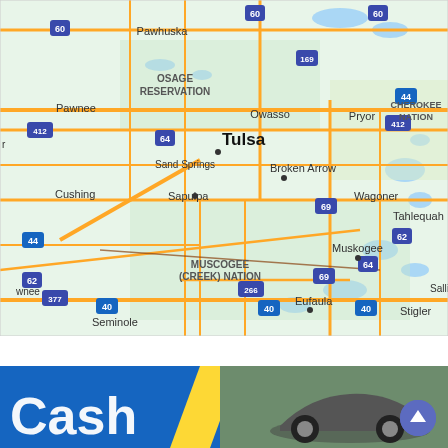[Figure (map): Google Maps view of the Tulsa, Oklahoma area showing cities including Pawhuska, Pawnee, Owasso, Tulsa, Sand Springs, Sapulpa, Cushing, Broken Arrow, Pryor, Wagoner, Muskogee, Tahlequah, Eufaula, Stigler, Seminole, Sallissaw, and tribal nation labels including Osage Reservation, Cherokee Nation, and Muscogee (Creek) Nation. Highways shown include I-44, I-40, US-60, US-169, US-64, US-412, US-62, US-69, US-266, US-377.]
[Figure (photo): Partial banner advertisement with blue background showing partial text 'Cash' or similar in large white letters with an image of what appears to be a car.]